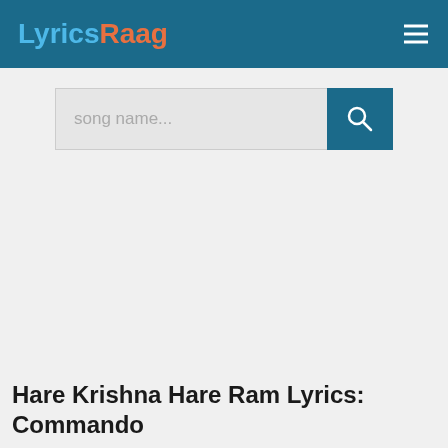LyricsRaag
[Figure (screenshot): Search bar with placeholder text 'song name...' and a dark teal search button with magnifier icon]
Hare Krishna Hare Ram Lyrics: Commando